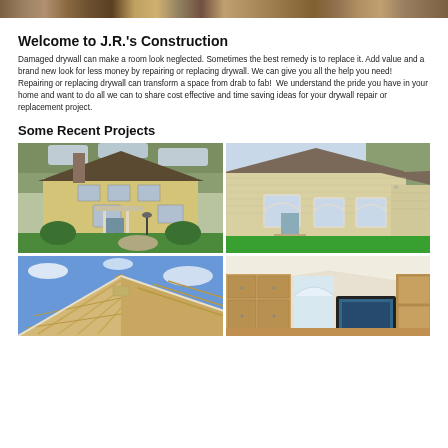[Figure (photo): Top banner photo strip of outdoor/nature scene]
Welcome to J.R.'s Construction
Damaged drywall can make a room look neglected. Sometimes the best remedy is to replace it. Add value and a brand new look for less money by repairing or replacing drywall. We can give you all the help you need!  Repairing or replacing drywall can transform a space from drab to fab!  We understand the pride you have in your home and want to do all we can to share cost effective and time saving ideas for your drywall repair or replacement project.
Some Recent Projects
[Figure (photo): Yellow colonial two-story house with chimney and landscaping]
[Figure (photo): Ranch style yellow house with arched windows and brick pathway]
[Figure (photo): Roof gable with blue sky background]
[Figure (photo): Interior room with vaulted ceiling and wooden cabinetry]